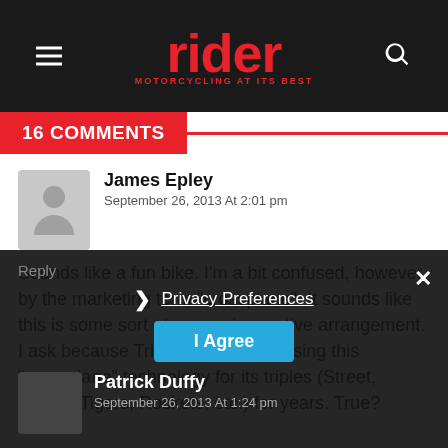[Figure (screenshot): Rider magazine website header with hamburger menu, red 'rider' logo, and search icon on dark background]
16 COMMENTS
James Epley
September 26, 2013 At 2:01 pm
Sounds like a fun bike. I'm a bit confused, however, by the marketing term "crossplane". It sounds like this is some sort of new or innovative arrangement. I ask because Triumph has been using this "crossplane" technology for its triples (Street, Speed, Tigers, Rockets, etc.) for years. True?
Patrick Duffy
September 26, 2013 At 1:24 pm
Privacy Preferences
I Agree